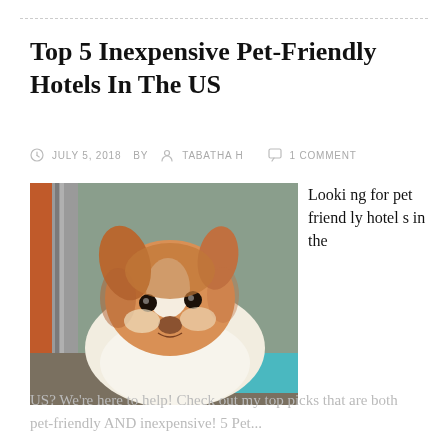Top 5 Inexpensive Pet-Friendly Hotels In The US
JULY 5, 2018   BY   TABATHA H   1 COMMENT
[Figure (photo): Close-up photo of a small brown and white puppy looking at the camera, with a teal mat and colorful items in the background.]
Looking for pet friendly hotels in the
US? We're here to help! Check out my top picks that are both pet-friendly AND inexpensive! 5 Pet...